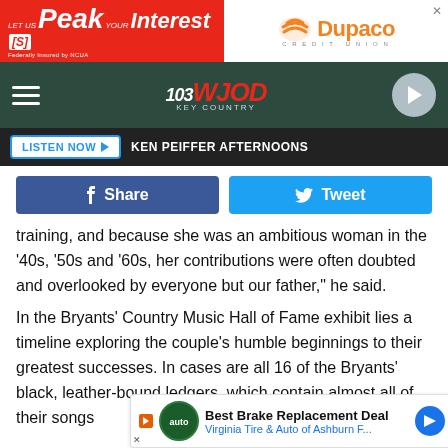[Figure (screenshot): Advertisement banner: 'Let us Peak your Interest[s]' on red background with Dupaco Credit Union logo on white background]
[Figure (screenshot): 103 WJOD Key Country radio station navigation bar with hamburger menu, logo, and play button]
[Figure (screenshot): Listen Now button with KEN PEIFFER AFTERNOONS text on dark bar]
[Figure (screenshot): Facebook Share and Twitter Tweet buttons]
training, and because she was an ambitious woman in the '40s, '50s and '60s, her contributions were often doubted and overlooked by everyone but our father," he said.
In the Bryants' Country Music Hall of Fame exhibit lies a timeline exploring the couple's humble beginnings to their greatest successes. In cases are all 16 of the Bryants' black, leather-bound ledgers, which contain almost all of their songs about across e
[Figure (screenshot): Advertisement: Best Brake Replacement Deal - Virginia Tire & Auto of Ashburn F...]